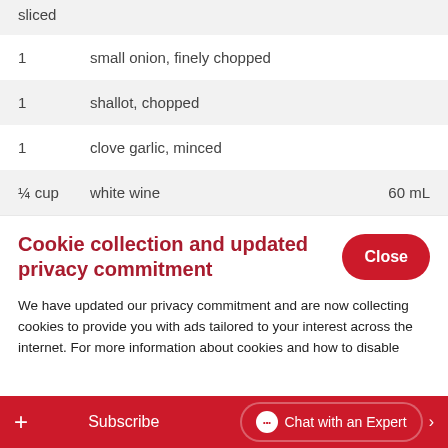| Qty | Ingredient | Metric |
| --- | --- | --- |
|  | sliced |  |
| 1 | small onion, finely chopped |  |
| 1 | shallot, chopped |  |
| 1 | clove garlic, minced |  |
| ¼ cup | white wine | 60 mL |
Cookie collection and updated privacy commitment
We have updated our privacy commitment and are now collecting cookies to provide you with ads tailored to your interest across the internet. For more information about cookies and how to disable
+ Subscribe  Chat with an Expert